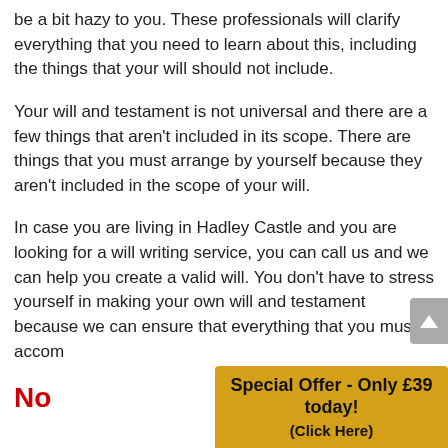be a bit hazy to you. These professionals will clarify everything that you need to learn about this, including the things that your will should not include.
Your will and testament is not universal and there are a few things that aren't included in its scope. There are things that you must arrange by yourself because they aren't included in the scope of your will.
In case you are living in Hadley Castle and you are looking for a will writing service, you can call us and we can help you create a valid will. You don't have to stress yourself in making your own will and testament because we can ensure that everything that you must accom
No
Special Offer - Only £39 today! (Click Here)